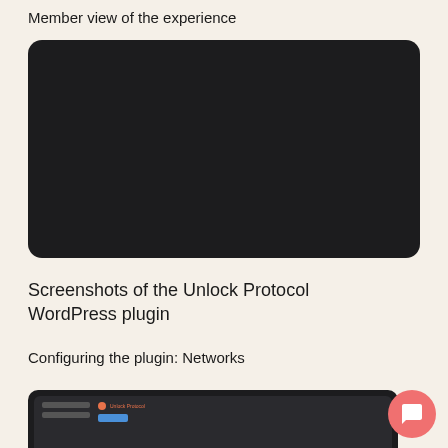Member view of the experience
[Figure (screenshot): Dark/black rounded rectangle representing a video or screenshot placeholder — member view of the experience]
Screenshots of the Unlock Protocol WordPress plugin
Configuring the plugin: Networks
[Figure (screenshot): Partial screenshot of Unlock Protocol WordPress plugin settings showing the Networks configuration screen with dark background and Unlock Protocol logo/badge in red and a blue button]